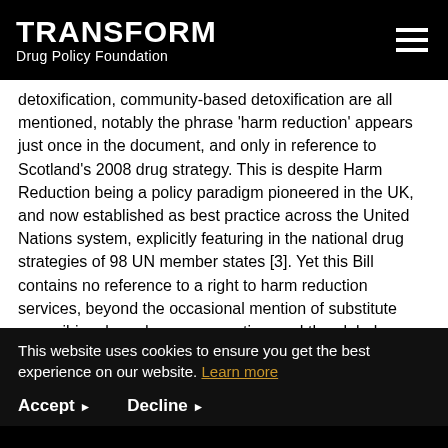TRANSFORM Drug Policy Foundation
detoxification, community-based detoxification are all mentioned, notably the phrase 'harm reduction' appears just once in the document, and only in reference to Scotland's 2008 drug strategy. This is despite Harm Reduction being a policy paradigm pioneered in the UK, and now established as best practice across the United Nations system, explicitly featuring in the national drug strategies of 98 UN member states [3]. Yet this Bill contains no reference to a right to harm reduction services, beyond the occasional mention of substitute prescribing, based on our expertise, and the global
This website uses cookies to ensure you get the best experience on our website. Learn more
Accept  Decline